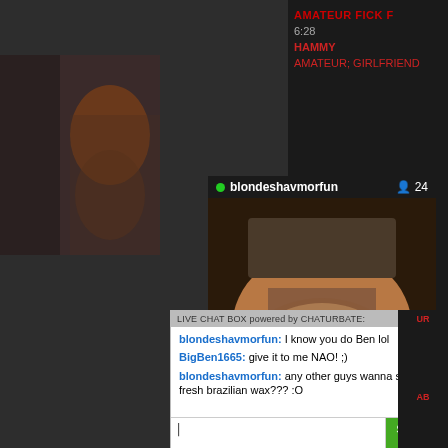AMATEUR FICK F...
6:28
HAMMY
AMATEUR; GIRLFRIEND...
[Figure (screenshot): Chaturbate live stream popup showing username blondeshavmorfun with 24 viewers, 3 HRS 25 MINS, 1016 CURRENT VIEWERS]
LIVE CHAT BOX powered by CHATURBATE:
blondeshavmorfun: I know you do Ben lol
BigBen1665: give it to me NAO! ;)
blondeshavmorfun: any other guys wanna see my fresh brazilian wax??? :O
SEND